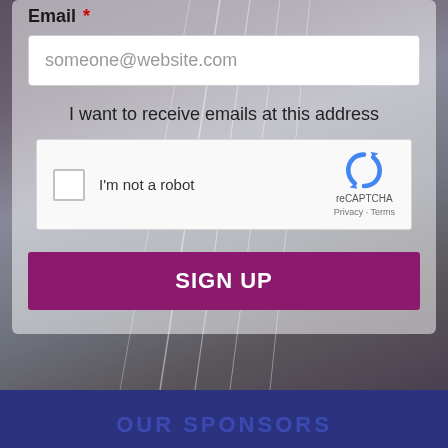Email *
someone@website.com
I want to receive emails at this address
[Figure (other): reCAPTCHA widget with checkbox labeled I'm not a robot and reCAPTCHA logo with Privacy - Terms links]
SIGN UP
OUR SPONSORS